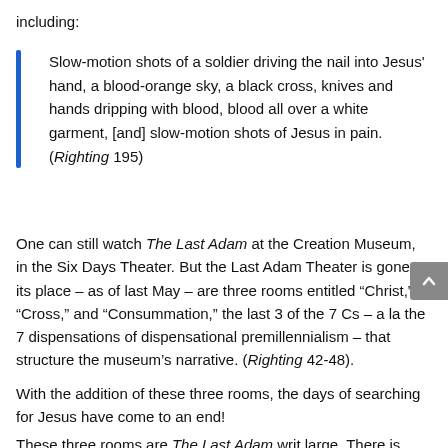including:
Slow-motion shots of a soldier driving the nail into Jesus' hand, a blood-orange sky, a black cross, knives and hands dripping with blood, blood all over a white garment, [and] slow-motion shots of Jesus in pain. (Righting 195)
One can still watch The Last Adam at the Creation Museum, in the Six Days Theater. But the Last Adam Theater is gone. In its place – as of last May – are three rooms entitled “Christ,” “Cross,” and “Consummation,” the last 3 of the 7 Cs – a la the 7 dispensations of dispensational premillennialism – that structure the museum’s narrative. (Righting 42-48).
With the addition of these three rooms, the days of searching for Jesus have come to an end!
These three rooms are The Last Adam writ large. There is